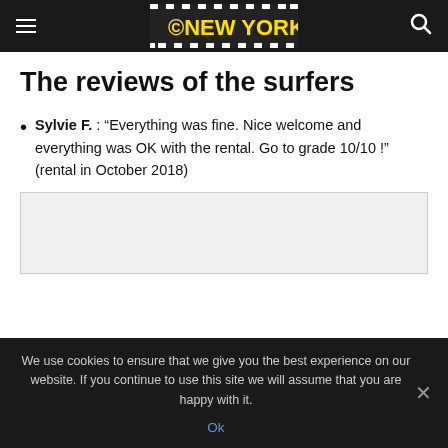© NEW YORK
The reviews of the surfers
Sylvie F. : “Everything was fine. Nice welcome and everything was OK with the rental. Go to grade 10/10 !” (rental in October 2018)
[Figure (other): Gray placeholder box for content]
We use cookies to ensure that we give you the best experience on our website. If you continue to use this site we will assume that you are happy with it.
Ok